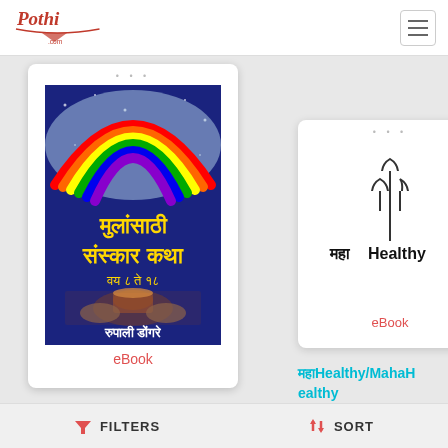Pothi.com
[Figure (illustration): Book cover: Mulanasathi Sanskar Katha - Marathi children's book with rainbow and pottery image, author Rupali Dongare. Labeled eBook.]
[Figure (illustration): Book cover: MahaHealthy - white cover with MahaHealthy logo/text and trident symbol. Labeled eBook.]
महाHealthy/MahaHealthy
Nidhi Liona Gupta
FILTERS   SORT